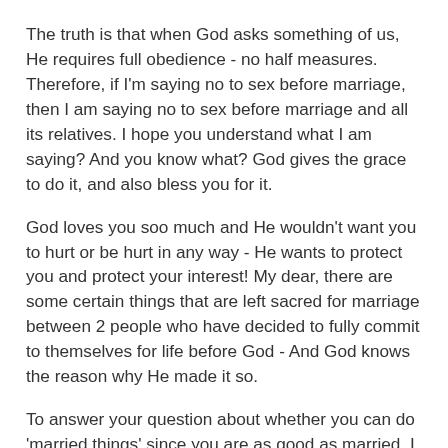The truth is that when God asks something of us, He requires full obedience - no half measures. Therefore, if I'm saying no to sex before marriage, then I am saying no to sex before marriage and all its relatives. I hope you understand what I am saying? And you know what? God gives the grace to do it, and also bless you for it.
God loves you soo much and He wouldn't want you to hurt or be hurt in any way - He wants to protect you and protect your interest! My dear, there are some certain things that are left sacred for marriage between 2 people who have decided to fully commit to themselves for life before God - And God knows the reason why He made it so.
To answer your question about whether you can do 'married things' since you are as good as married, I ask 'What is marriage?' or 'What defines marriage?' - I don't think there's one complete human description of marriage because it wasn't created by human beings, it was created by God. God sets the standard. However for your question, you have to ask yourself some questions.